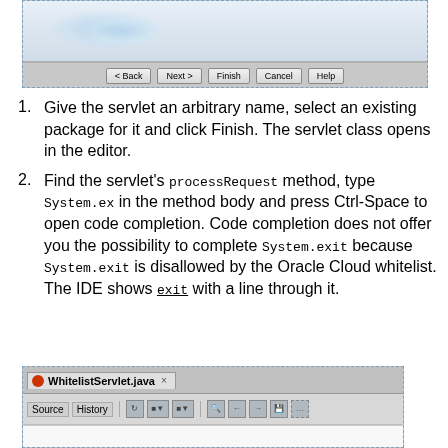[Figure (screenshot): Wizard dialog bottom portion showing navigation buttons: Back, Next, Finish, Cancel, Help on a grey background with blue watercolor decorative element]
Give the servlet an arbitrary name, select an existing package for it and click Finish. The servlet class opens in the editor.
Find the servlet's processRequest method, type System.ex in the method body and press Ctrl-Space to open code completion. Code completion does not offer you the possibility to complete System.exit because System.exit is disallowed by the Oracle Cloud whitelist. The IDE shows exit with a line through it.
[Figure (screenshot): NetBeans IDE editor showing WhitelistServlet.java tab open with Source and History toolbar buttons and IDE toolbar icons]